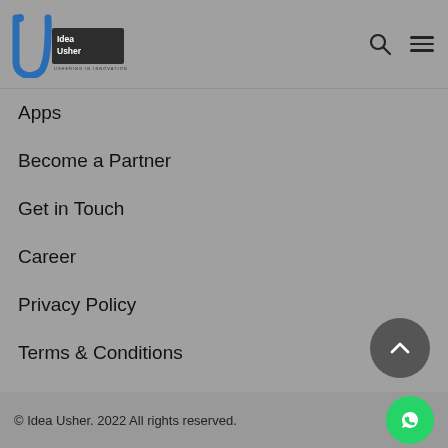[Figure (logo): Idea Usher logo with blue U shape and dark rectangle with 'Idea Usher - Ushering in Innovation' text]
Apps
Become a Partner
Get in Touch
Career
Privacy Policy
Terms & Conditions
© Idea Usher. 2022 All rights reserved.